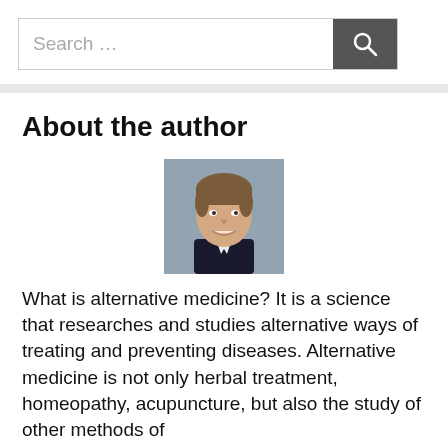Search …
About the author
[Figure (photo): Headshot of a young man with brown hair, smiling, wearing a dark suit jacket, photographed against a blurred indoor background.]
What is alternative medicine? It is a science that researches and studies alternative ways of treating and preventing diseases. Alternative medicine is not only herbal treatment, homeopathy, acupuncture, but also the study of other methods of